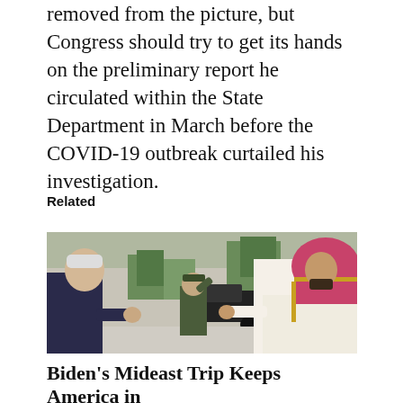removed from the picture, but Congress should try to get its hands on the preliminary report he circulated within the State Department in March before the COVID-19 outbreak curtailed his investigation.
Related
[Figure (photo): Photo of two men fist-bumping outdoors. On the left is an older man in a dark suit. On the right is a man in traditional Saudi white thobe and pink-and-gold headdress. A military officer in green uniform salutes in the background near a black SUV and trees.]
Biden's Mideast Trip Keeps America in